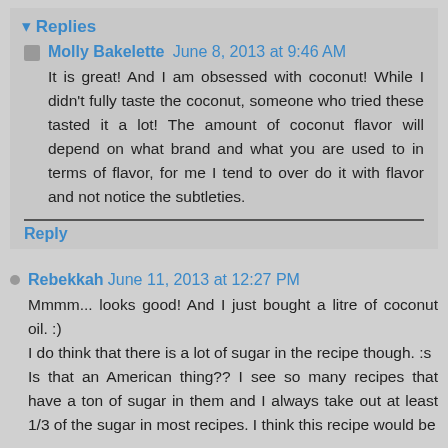▾ Replies
Molly Bakelette  June 8, 2013 at 9:46 AM
It is great! And I am obsessed with coconut! While I didn't fully taste the coconut, someone who tried these tasted it a lot! The amount of coconut flavor will depend on what brand and what you are used to in terms of flavor, for me I tend to over do it with flavor and not notice the subtleties.
Reply
Rebekkah  June 11, 2013 at 12:27 PM
Mmmm... looks good! And I just bought a litre of coconut oil. :)
I do think that there is a lot of sugar in the recipe though. :s
Is that an American thing?? I see so many recipes that have a ton of sugar in them and I always take out at least 1/3 of the sugar in most recipes. I think this recipe would be